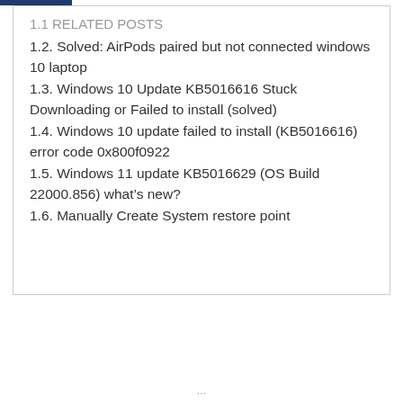1.2. Solved: AirPods paired but not connected windows 10 laptop
1.3. Windows 10 Update KB5016616 Stuck Downloading or Failed to install (solved)
1.4. Windows 10 update failed to install (KB5016616) error code 0x800f0922
1.5. Windows 11 update KB5016629 (OS Build 22000.856) what’s new?
1.6. Manually Create System restore point